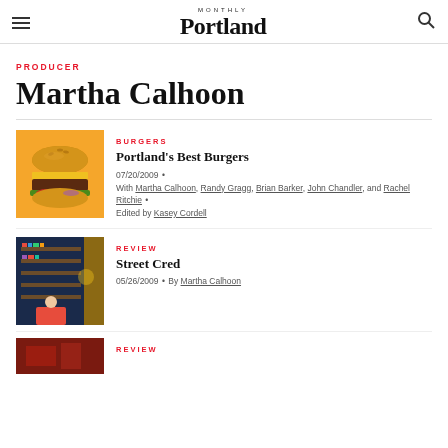MONTHLY Portland
PRODUCER
Martha Calhoon
BURGERS
Portland's Best Burgers
07/20/2009 • With Martha Calhoon, Randy Gragg, Brian Barker, John Chandler, and Rachel Ritchie • Edited by Kasey Cordell
[Figure (photo): Burger photo on yellow background]
REVIEW
Street Cred
05/26/2009 • By Martha Calhoon
[Figure (photo): Interior restaurant photo with blue tones]
REVIEW